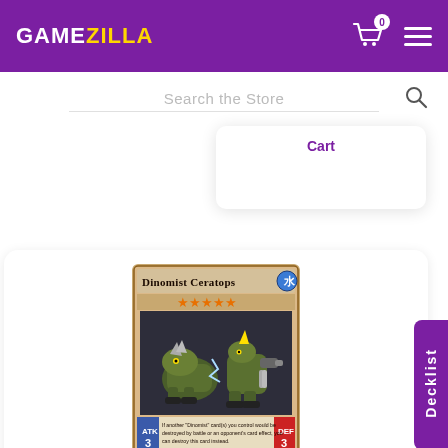GAMEZILLA
Search the Store
Cart
[Figure (screenshot): Yu-Gi-Oh trading card: Dinomist Ceratops. Shows two robotic dinosaur creatures on a dark background. Card name shown at top, 5 orange stars for level, water attribute symbol, ATK/DEF 3/3 shown at bottom. Effect text: If another Dinomist card(s) you control would be destroyed by battle or an opponent's card effect, you can destroy this card instead.]
Decklist